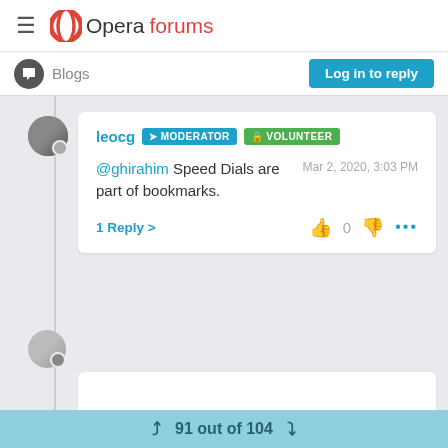Opera forums
Blogs
Log in to reply
leocg MODERATOR VOLUNTEER
@ghirahim Speed Dials are part of bookmarks.
Mar 2, 2020, 3:03 PM
1 Reply >
91 out of 104